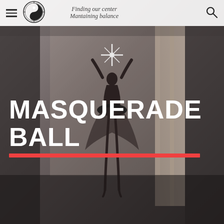[Figure (illustration): Black and white illustration of a ballerina viewed from behind, standing in a doorway with arms raised, star light above, dark moody background. Image fills the entire page as a background.]
Finding our center
Mantaining balance
MASQUERADE BALL